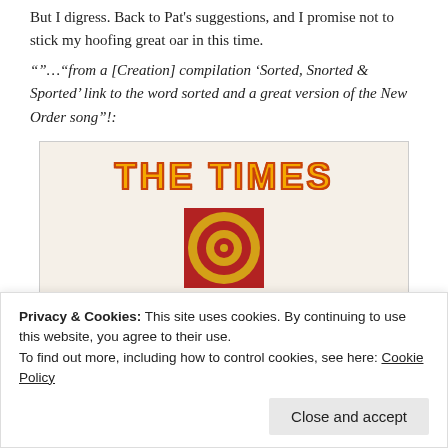But I digress. Back to Pat's suggestions, and I promise not to stick my hoofing great oar in this time.
“”…“from a [Creation] compilation ‘Sorted, Snorted & Sported’ link to the word sorted and a great version of the New Order song”!:
[Figure (photo): Album cover image showing 'THE TIMES' in large orange/yellow letters with red outline at top, and a bullseye/target graphic in a red square below on a cream/off-white background.]
Privacy & Cookies: This site uses cookies. By continuing to use this website, you agree to their use.
To find out more, including how to control cookies, see here: Cookie Policy
Close and accept